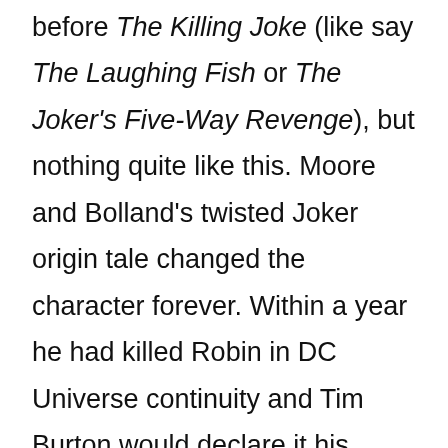before The Killing Joke (like say The Laughing Fish or The Joker's Five-Way Revenge), but nothing quite like this. Moore and Bolland's twisted Joker origin tale changed the character forever. Within a year he had killed Robin in DC Universe continuity and Tim Burton would declare it his favorite comic book, inspiring him to take the reigns on his groundbreaking Batman feature. It's also impossible to imagine Heath Ledger's instantly iconic take on the character without The Killing Joke providing the actor